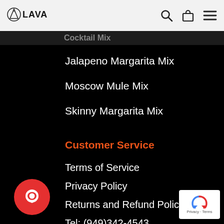LAVA
Cocktail Mix
Jalapeno Margarita Mix
Moscow Mule Mix
Skinny Margarita Mix
Customer Service
Terms of Service
Privacy Policy
Returns and Refund Policy
Tel: (949)342-4543
Email Us: Contact Page
[Figure (logo): Chat bubble icon - red circular button with white speech bubble icon]
[Figure (logo): reCAPTCHA badge with Google logo, Privacy and Terms links]